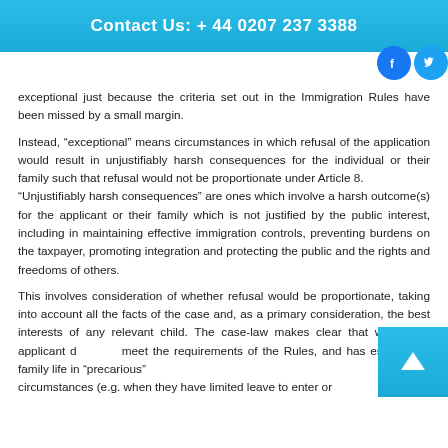Contact Us: + 44 0207 237 3388
exceptional just because the criteria set out in the Immigration Rules have been missed by a small margin.
Instead, “exceptional” means circumstances in which refusal of the application would result in unjustifiably harsh consequences for the individual or their family such that refusal would not be proportionate under Article 8.
“Unjustifiably harsh consequences” are ones which involve a harsh outcome(s) for the applicant or their family which is not justified by the public interest, including in maintaining effective immigration controls, preventing burdens on the taxpayer, promoting integration and protecting the public and the rights and freedoms of others.
This involves consideration of whether refusal would be proportionate, taking into account all the facts of the case and, as a primary consideration, the best interests of any relevant child. The case-law makes clear that where the applicant d… meet the requirements of the Rules, and has establish… family life in “precarious”
circumstances (e.g. when they have limited leave to enter or